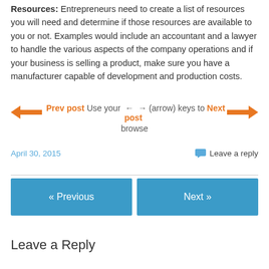Resources: Entrepreneurs need to create a list of resources you will need and determine if those resources are available to you or not. Examples would include an accountant and a lawyer to handle the various aspects of the company operations and if your business is selling a product, make sure you have a manufacturer capable of development and production costs.
← Prev post  Use your ←  → (arrow) keys to  Next post → browse
April 30, 2015
Leave a reply
« Previous
Next »
Leave a Reply